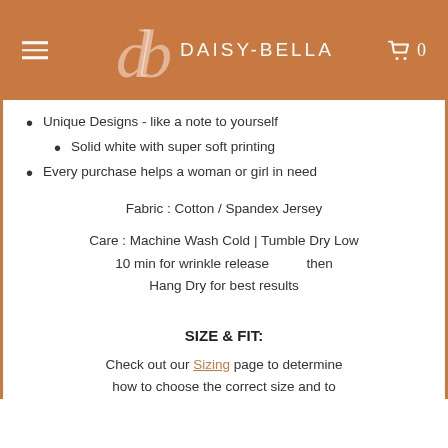db DAISY-BELLA
Unique Designs - like a note to yourself
Solid white with super soft printing
Every purchase helps a woman or girl in need
Fabric : Cotton / Spandex Jersey
Care : Machine Wash Cold | Tumble Dry Low 10 min for wrinkle release then Hang Dry for best results
SIZE & FIT:
Check out our Sizing page to determine how to choose the correct size and to